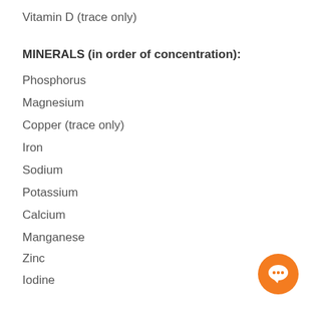Vitamin D (trace only)
MINERALS (in order of concentration):
Phosphorus
Magnesium
Copper (trace only)
Iron
Sodium
Potassium
Calcium
Manganese
Zinc
Iodine
NUCLEOTIDES (in order of concentration)
Guanine
Adenine